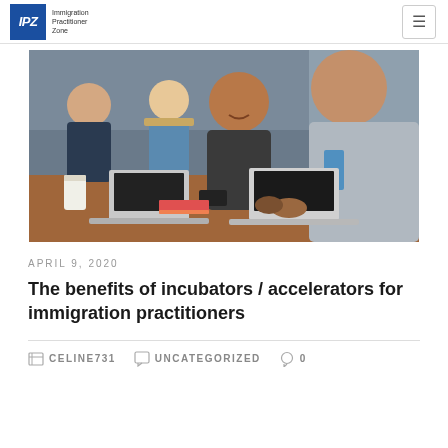IPZ Immigration Practitioner Zone
[Figure (photo): Group of people working on laptops at a table in a collaborative workspace; two men in the foreground are smiling]
APRIL 9, 2020
The benefits of incubators / accelerators for immigration practitioners
CELINE731  UNCATEGORIZED  0